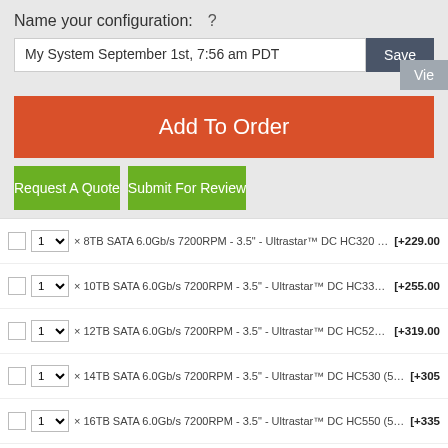Name your configuration: ?
My System September 1st, 7:56 am PDT
Add To Order
Request A Quote
Submit For Review
1 x 8TB SATA 6.0Gb/s 7200RPM - 3.5" - Ultrastar™ DC HC320 (512e) [+229.00]
1 x 10TB SATA 6.0Gb/s 7200RPM - 3.5" - Ultrastar™ DC HC330 (512e) [+255.00]
1 x 12TB SATA 6.0Gb/s 7200RPM - 3.5" - Ultrastar™ DC HC520 (512e) [+319.00]
1 x 14TB SATA 6.0Gb/s 7200RPM - 3.5" - Ultrastar™ DC HC530 (512e/4Kn) [+305...]
1 x 16TB SATA 6.0Gb/s 7200RPM - 3.5" - Ultrastar™ DC HC550 (512e/4Kn) [+335...]
1 x 18TB SATA 6.0Gb/s 7200RPM - 3.5" - Ultrastar™ DC HC550 (512e/4Kn) [+359...]
1 x 20TB SATA 6.0Gb/s 7200RPM - 3.5" - Ultrastar™ DC HC560 (512e/4Kn) [+47...]
Western Digital Enterprise-Class SAS Hard Drives
1 x 4TB SAS 3.0 12.0Gb/s 7200RPM - 3.5" - Ultrastar™ DC HC310 (512e) [+179.00]
1 x ...